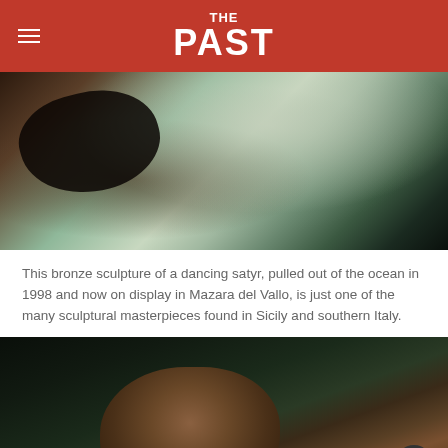THE PAST
[Figure (photo): Close-up of a bronze sculpture of a dancing satyr, showing the metallic surface with green patina and a dark hollow opening, against a dark background.]
This bronze sculpture of a dancing satyr, pulled out of the ocean in 1998 and now on display in Mazara del Vallo, is just one of the many sculptural masterpieces found in Sicily and southern Italy.
[Figure (photo): Bronze sculpture head and torso of a figure, shown against a dark green background, with detailed facial features and patinated bronze surface.]